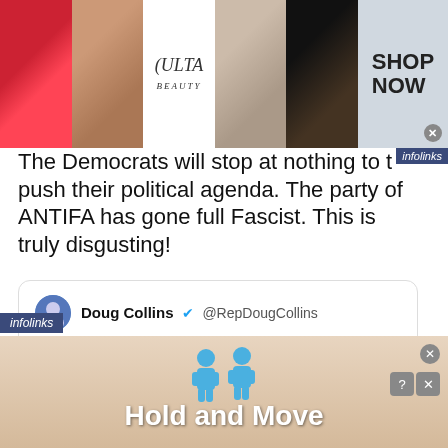[Figure (photo): Top advertisement banner showing makeup/beauty collage with ULTA Beauty branding and 'SHOP NOW' button]
The Democrats will stop at nothing to push their political agenda. The party of ANTIFA has gone full Fascist. This is truly disgusting!
Doug Collins @RepDougCollins
Senate Dems spent months launching false accusations in an attempt to smear #JusticeKavanaugh's reputation & block his confirmation to the U.S. Supreme Court, & now House Dems want to follow suit with yet another fishing expedition to tarnish his good name. Full statement →
[Figure (screenshot): Bottom advertisement for 'Hold and Move' app showing blue figure icons on a skin-tone background]